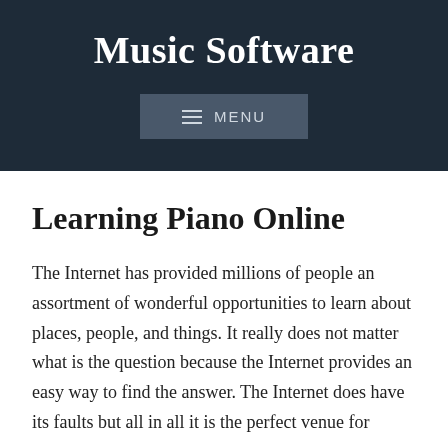Music Software
[Figure (other): Navigation menu button with hamburger icon and MENU label on dark background]
Learning Piano Online
The Internet has provided millions of people an assortment of wonderful opportunities to learn about places, people, and things. It really does not matter what is the question because the Internet provides an easy way to find the answer. The Internet does have its faults but all in all it is the perfect venue for